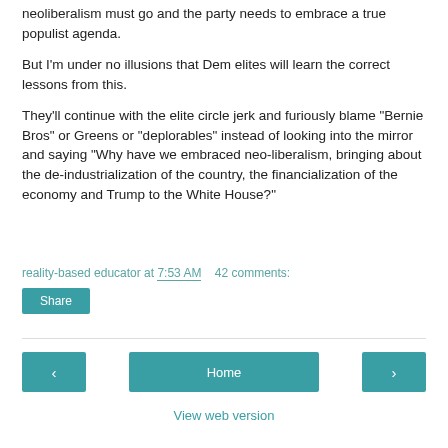neoliberalism must go and the party needs to embrace a true populist agenda.
But I'm under no illusions that Dem elites will learn the correct lessons from this.
They'll continue with the elite circle jerk and furiously blame "Bernie Bros" or Greens or "deplorables" instead of looking into the mirror and saying "Why have we embraced neo-liberalism, bringing about the de-industrialization of the country, the financialization of the economy and Trump to the White House?"
reality-based educator at 7:53 AM   42 comments:
Share
‹
Home
›
View web version